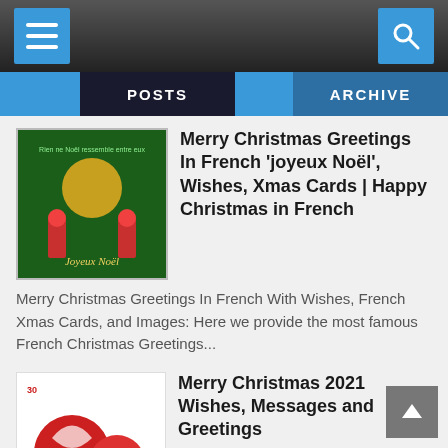Navigation bar with hamburger menu and search icon
POSTS | ARCHIVE
Merry Christmas Greetings In French 'joyeux Noël', Wishes, Xmas Cards | Happy Christmas in French
Merry Christmas Greetings In French With Wishes, French Xmas Cards, and Images: Here we provide the most famous French Christmas Greetings...
Merry Christmas 2021 Wishes, Messages and Greetings
Merry Christmas 2021 Wishes, Messages, and Greetings: Merry Christmas in the United States and other countries is a holiday observed on th...
Top 100+ Merry Christmas Wishes Xmas, Christmas SMS, Card Messages, Quotes and Greetings